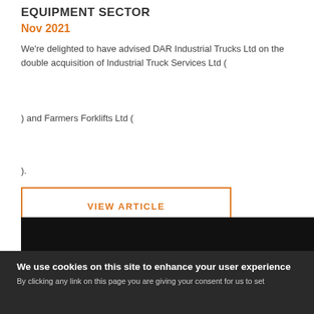EQUIPMENT SECTOR
Nov 2021
We're delighted to have advised DAR Industrial Trucks Ltd on the double acquisition of Industrial Truck Services Ltd (
) and Farmers Forklifts Ltd (
).
VIEW ARTICLE
[Figure (other): Black banner with orange strip below it]
We use cookies on this site to enhance your user experience
By clicking any link on this page you are giving your consent for us to set